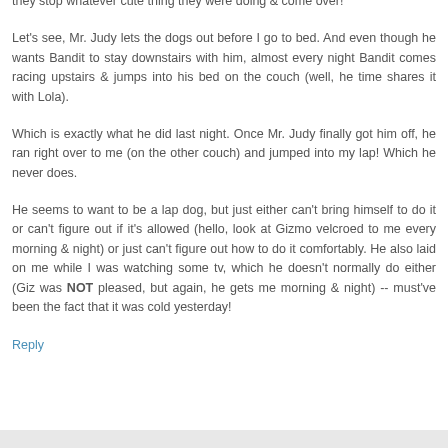they stop whatever cute thing they were doing & come over!
Let's see, Mr. Judy lets the dogs out before I go to bed. And even though he wants Bandit to stay downstairs with him, almost every night Bandit comes racing upstairs & jumps into his bed on the couch (well, he time shares it with Lola).
Which is exactly what he did last night. Once Mr. Judy finally got him off, he ran right over to me (on the other couch) and jumped into my lap! Which he never does.
He seems to want to be a lap dog, but just either can't bring himself to do it or can't figure out if it's allowed (hello, look at Gizmo velcroed to me every morning & night) or just can't figure out how to do it comfortably. He also laid on me while I was watching some tv, which he doesn't normally do either (Giz was NOT pleased, but again, he gets me morning & night) -- must've been the fact that it was cold yesterday!
Reply